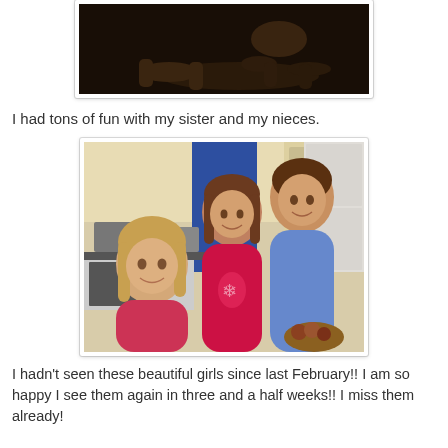[Figure (photo): Partial photo of a dog lying on the floor, dark background, only the lower portion visible]
I had tons of fun with my sister and my nieces.
[Figure (photo): Three girls smiling in a kitchen. A young blonde girl in the foreground left, a middle girl in a pink long-sleeve shirt in the center, and an older girl in a blue shirt on the right. Kitchen appliances visible in background including a coffee maker.]
I hadn't seen these beautiful girls since last February!!  I am so happy I see them again in three and a half weeks!!  I miss them already!